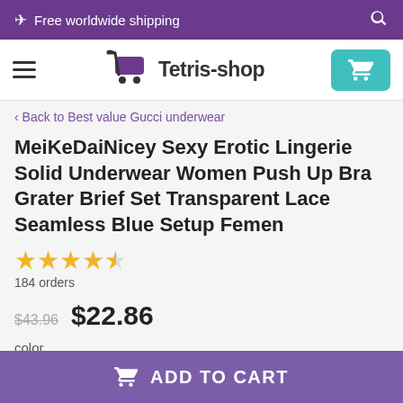✈ Free worldwide shipping
[Figure (logo): Tetris-shop logo with shopping cart icon and hamburger menu and teal cart button]
< Back to Best value Gucci underwear
MeiKeDaiNicey Sexy Erotic Lingerie Solid Underwear Women Push Up Bra Grater Brief Set Transparent Lace Seamless Blue Setup Femen
★★★★☆ 184 orders
$43.96  $22.86
color
ADD TO CART